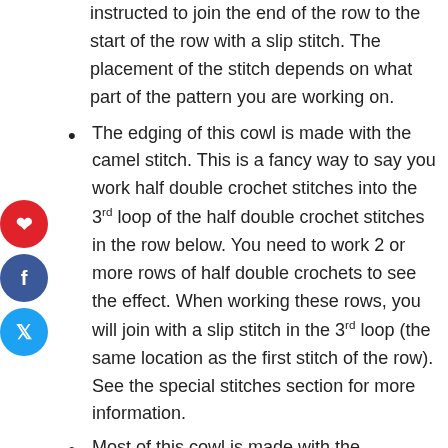instructed to join the end of the row to the start of the row with a slip stitch. The placement of the stitch depends on what part of the pattern you are working on.
The edging of this cowl is made with the camel stitch. This is a fancy way to say you work half double crochet stitches into the 3rd loop of the half double crochet stitches in the row below. You need to work 2 or more rows of half double crochets to see the effect. When working these rows, you will join with a slip stitch in the 3rd loop (the same location as the first stitch of the row). See the special stitches section for more information.
Most of this cowl is made with the herringbone stitch. It is another variation of the half double crochet stitch. I love the amazing texture this stitch provides. It is one